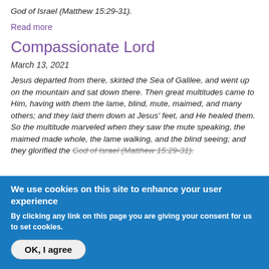God of Israel (Matthew 15:29-31).
Read more
Compassionate Lord
March 13, 2021
Jesus departed from there, skirted the Sea of Galilee, and went up on the mountain and sat down there. Then great multitudes came to Him, having with them the lame, blind, mute, maimed, and many others; and they laid them down at Jesus' feet, and He healed them. So the multitude marveled when they saw the mute speaking, the maimed made whole, the lame walking, and the blind seeing; and they glorified the God of Israel (Matthew 15:29-31).
We use cookies on this site to enhance your user experience
By clicking any link on this page you are giving your consent for us to set cookies.
OK, I agree